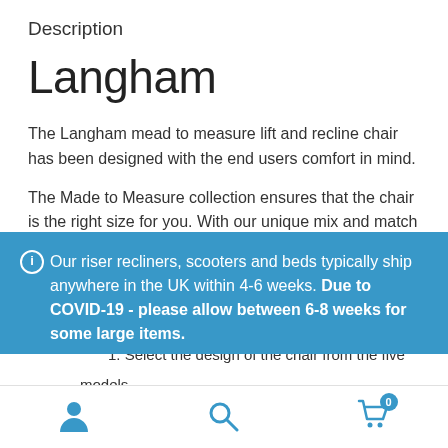Description
Langham
The Langham mead to measure lift and recline chair has been designed with the end users comfort in mind.
The Made to Measure collection ensures that the chair is the right size for you. With our unique mix and match
Our riser recliners, scooters and beds typically ship anywhere in the UK within 4-6 weeks. Due to COVID-19 - please allow between 6-8 weeks for some large items. Dismiss
1. Select the design of the chair from the five models